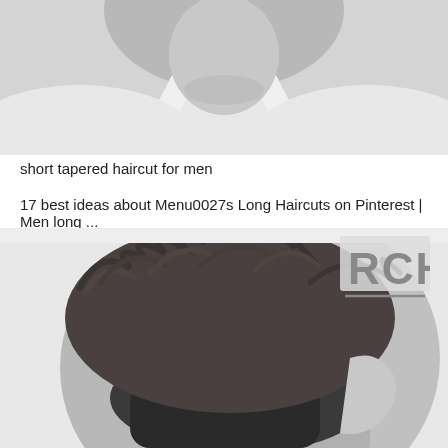[Figure (photo): Black and white close-up photo of a person's neck and lower chin area, wearing a white v-neck shirt, short tapered haircut visible]
short tapered haircut for men
17 best ideas about Menu0027s Long Haircuts on Pinterest | Men long ...
[Figure (photo): Black and white photo of a man's hairstyle from behind and side, showing a textured, voluminous top with tapered sides and back, with RCH logo watermark in top right corner]